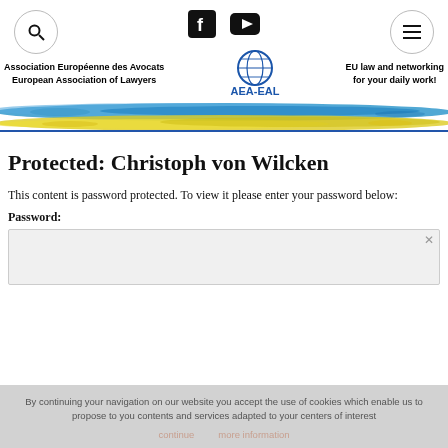[Figure (screenshot): Top navigation bar with search icon (circle), social media icons (Facebook, YouTube), and menu hamburger icon (circle)]
[Figure (logo): AEA-EAL logo with globe icon, organization name 'Association Européenne des Avocats / European Association of Lawyers', and tagline 'EU law and networking for your daily work!']
[Figure (illustration): Blue and yellow paint brush stripes across full width, resembling Ukrainian flag colors]
Protected: Christoph von Wilcken
This content is password protected. To view it please enter your password below:
Password:
By continuing your navigation on our website you accept the use of cookies which enable us to propose to you contents and services adapted to your centers of interest
continue   more information